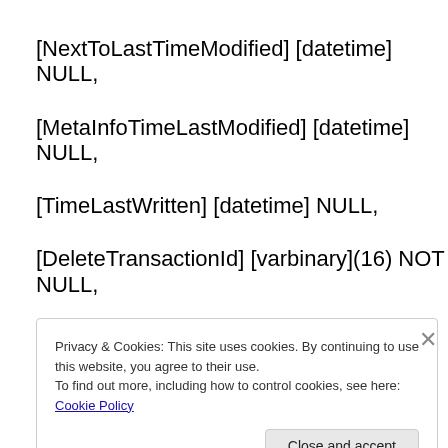[NextToLastTimeModified] [datetime] NULL,
[MetaInfoTimeLastModified] [datetime] NULL,
[TimeLastWritten] [datetime] NULL,
[DeleteTransactionId] [varbinary](16) NOT NULL,
[SetupPathVersion] [tinyint] NOT NULL,
[SetupPath] [nvarchar](255) NULL,
Privacy & Cookies: This site uses cookies. By continuing to use this website, you agree to their use.
To find out more, including how to control cookies, see here: Cookie Policy
Close and accept